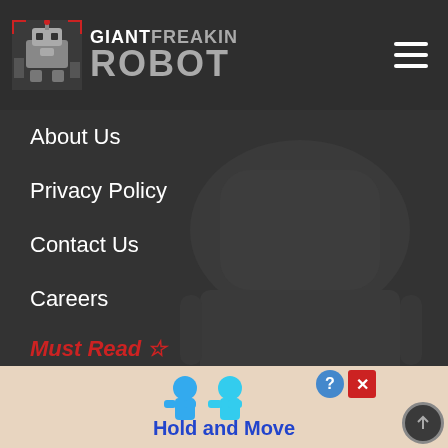[Figure (logo): Giant Freakin Robot logo with robot icon and text]
About Us
Privacy Policy
Contact Us
Careers
Must Read ☆
The Ultimate Star Trek Guide
The Definitive Marvel Movie Encyclopedia
Star Wars News
Dwayne Johnson News
Brie Larson News
[Figure (screenshot): Advertisement banner at bottom showing Hold and Move game with blue characters]